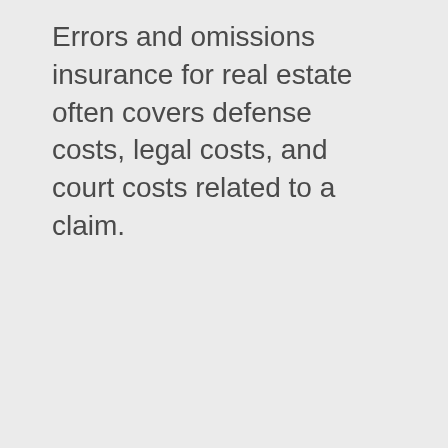Errors and omissions insurance for real estate often covers defense costs, legal costs, and court costs related to a claim.